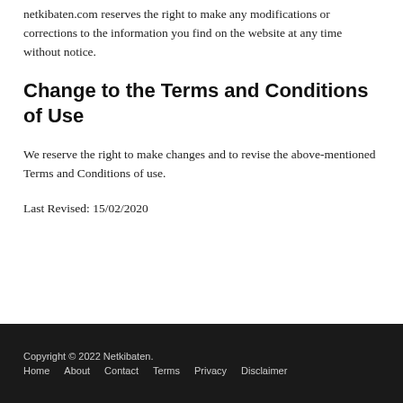netkibaten.com reserves the right to make any modifications or corrections to the information you find on the website at any time without notice.
Change to the Terms and Conditions of Use
We reserve the right to make changes and to revise the above-mentioned Terms and Conditions of use.
Last Revised: 15/02/2020
Copyright © 2022 Netkibaten.   Home   About   Contact   Terms   Privacy   Disclaimer